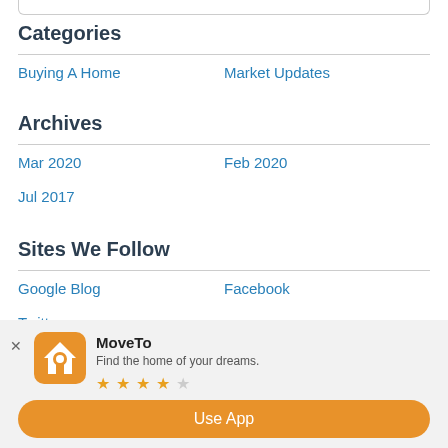Categories
Buying A Home
Market Updates
Archives
Mar 2020
Feb 2020
Jul 2017
Sites We Follow
Google Blog
Facebook
Twitter
[Figure (other): MoveTo app banner with icon, title, tagline 'Find the home of your dreams.', 4-star rating, and 'Use App' button]